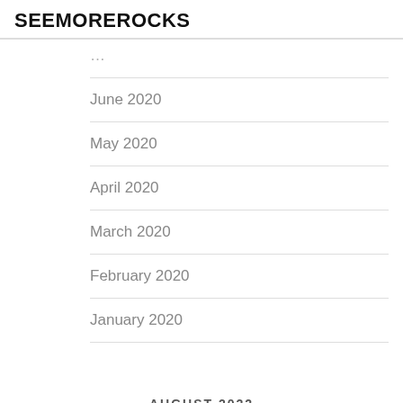SEEMOREROCKS
June 2020
May 2020
April 2020
March 2020
February 2020
January 2020
AUGUST 2022
| M | T | W | T | F | S | S |
| --- | --- | --- | --- | --- | --- | --- |